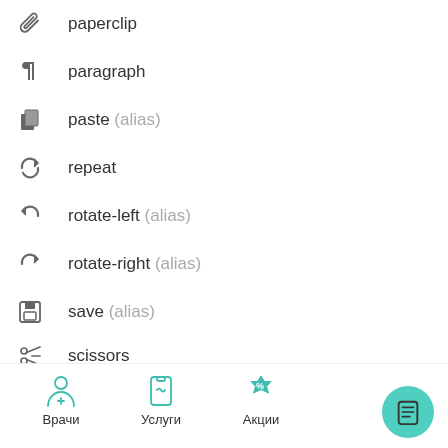paperclip
paragraph
paste (alias)
repeat
rotate-left (alias)
rotate-right (alias)
save (alias)
scissors
strikethrough
subscript
superscript
Врачи  Услуги  Акции